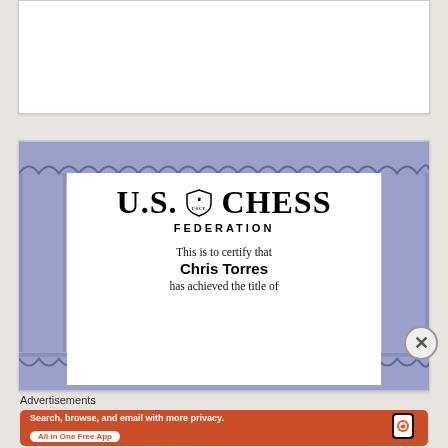[Figure (other): Top portion of a webpage showing a white card/content area (partially visible, cut off)]
[Figure (other): U.S. Chess Federation certificate with decorative blue lace border. Text reads: U.S. CHESS FEDERATION. This is to certify that Chris Torres has achieved the title of]
Advertisements
[Figure (other): DuckDuckGo advertisement banner: orange background with phone showing DuckDuckGo app. Text: Search, browse, and email with more privacy. All in One Free App. DuckDuckGo.]